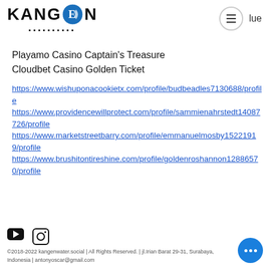[Figure (logo): Kangen logo with circular icon containing letter design, text KANGEN with decorative subtitle below]
Playamo Casino Captain's Treasure
Cloudbet Casino Golden Ticket
https://www.wishuponacookietx.com/profile/budbeadles7130688/profile
https://www.providencewillprotect.com/profile/sammienahrstedt14087726/profile
https://www.marketstreetbarry.com/profile/emmanuelmosby15221919/profile
https://www.brushitontireshine.com/profile/goldenroshannon12886570/profile
©2018-2022 kangenwater.social | All Rights Reserved. | jl.Irian Barat 29-31, Surabaya, Indonesia | antonyoscar@gmail.com